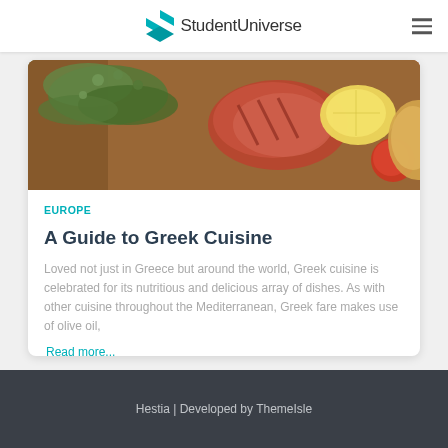StudentUniverse
[Figure (photo): Food photography showing Greek cuisine on a wooden board with herbs (thyme/oregano), grilled meat, lemon wedges, tomatoes, and bread]
EUROPE
A Guide to Greek Cuisine
Loved not just in Greece but around the world, Greek cuisine is celebrated for its nutritious and delicious array of dishes. As with other cuisine throughout the Mediterranean, Greek fare makes use of olive oil,
Read more...
Hestia | Developed by ThemeIsle